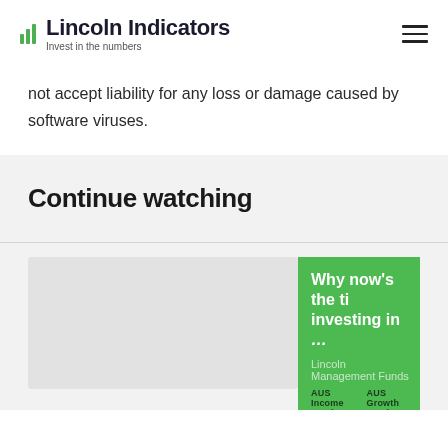Lincoln Indicators — Invest in the numbers
not accept liability for any loss or damage caused by software viruses.
Continue watching
[Figure (screenshot): Thumbnail card for a video about investing in Lincoln Management Funds, showing a green banner with text 'Why now’s the ti[me to consider] investing in [...]', Lincoln Management Funds label, and AUS Income Fund / AUS Growth Fund labels at bottom.]